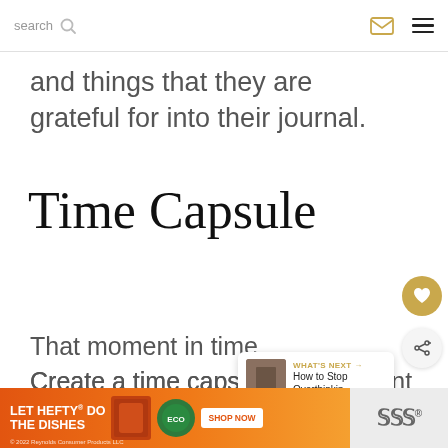search
and things that they are grateful for into their journal.
Time Capsule
That moment in time...
Create a time capsule of important moments of a defined time period.
This could be great for any life...
[Figure (infographic): Ad banner: LET HEFTY DO THE DISHES with product images and SHOP NOW button]
© 2022 Reynolds Consumer Products LLC